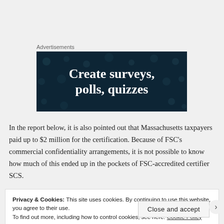Advertisements
[Figure (screenshot): Dark blue advertisement banner showing text 'Create surveys, polls, quizzes' with decorative dots pattern on dark navy background]
In the report below, it is also pointed out that Massachusetts taxpayers paid up to $2 million for the certification. Because of FSC's commercial confidentiality arrangements, it is not possible to know how much of this ended up in the pockets of FSC-accredited certifier SCS.
Privacy & Cookies: This site uses cookies. By continuing to use this website, you agree to their use.
To find out more, including how to control cookies, see here: Cookie Policy
Close and accept